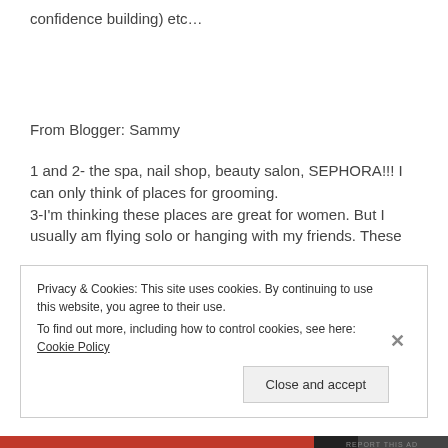confidence building) etc...
From Blogger: Sammy
1 and 2- the spa, nail shop, beauty salon, SEPHORA!!! I can only think of places for grooming.
3-I'm thinking these places are great for women. But I usually am flying solo or hanging with my friends. These
Privacy & Cookies: This site uses cookies. By continuing to use this website, you agree to their use.
To find out more, including how to control cookies, see here: Cookie Policy
Close and accept